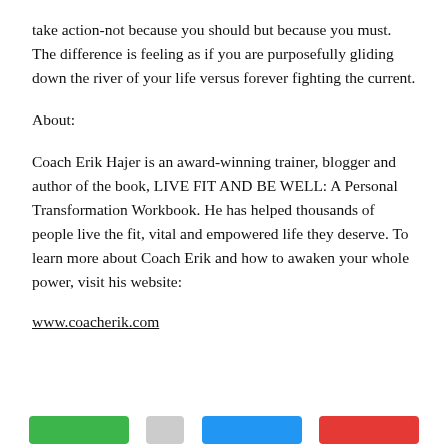take action-not because you should but because you must.  The difference is feeling as if you are purposefully gliding down the river of your life versus forever fighting the current.
About:
Coach Erik Hajer is an award-winning trainer, blogger and author of the book, LIVE FIT AND BE WELL: A Personal Transformation Workbook. He has helped thousands of people live the fit, vital and empowered life they deserve. To learn more about Coach Erik and how to awaken your whole power, visit his website:
www.coacherik.com